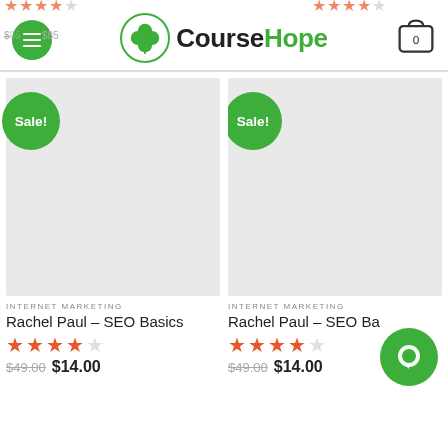CourseHope
[Figure (screenshot): Product card 1: Rachel Paul – SEO Basics with Sale badge, light grey placeholder image]
INTERNET MARKETING
Rachel Paul – SEO Basics
★★★★☆
$49.00  $14.00
[Figure (screenshot): Product card 2: Rachel Paul – SEO Ba... with Sale badge, light grey placeholder image]
INTERNET MARKETING
Rachel Paul – SEO Ba...
★★★★☆
$49.00  $14.00